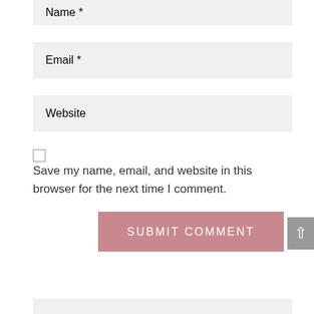Name *
Email *
Website
Save my name, email, and website in this browser for the next time I comment.
SUBMIT COMMENT